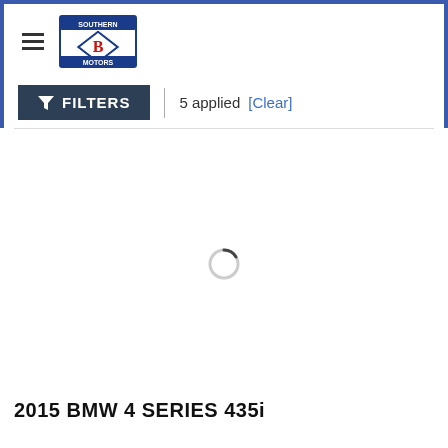5 applied [Clear]
[Figure (other): Loading spinner (circular arc indicator)]
2015 BMW 4 SERIES 435i